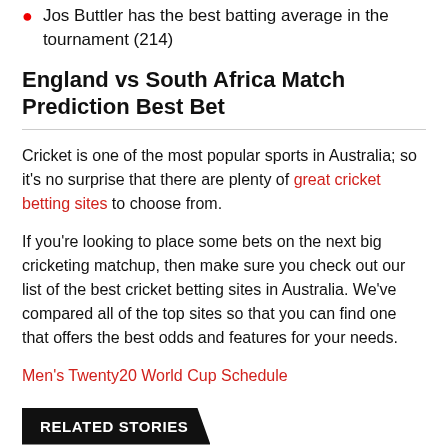Jos Buttler has the best batting average in the tournament (214)
England vs South Africa Match Prediction Best Bet
Cricket is one of the most popular sports in Australia; so it’s no surprise that there are plenty of great cricket betting sites to choose from.
If you’re looking to place some bets on the next big cricketing matchup, then make sure you check out our list of the best cricket betting sites in Australia. We’ve compared all of the top sites so that you can find one that offers the best odds and features for your needs.
Men’s Twenty20 World Cup Schedule
RELATED STORIES